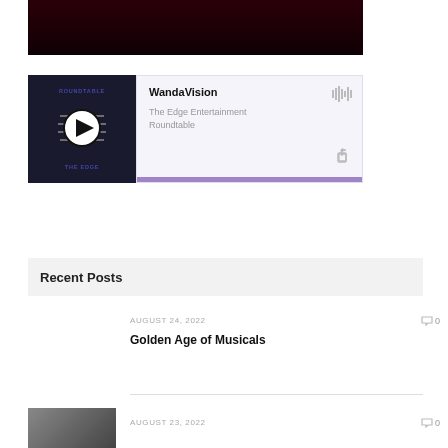[Figure (photo): Top banner image with dark maroon/black gradient background]
[Figure (screenshot): Podcast player widget for WandaVision episode from The Edge Entertainment Roundtable podcast with play button, waveform icon, share icon, and purple progress bar]
Recent Posts
AUGUST 24, 2022
Golden Age of Musicals
AUGUST 23, 2022